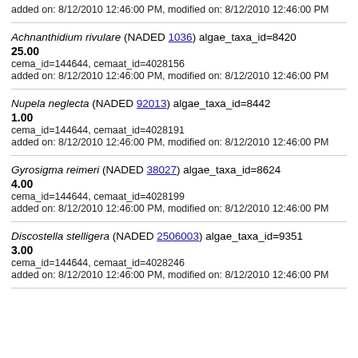added on: 8/12/2010 12:46:00 PM, modified on: 8/12/2010 12:46:00 PM
Achnanthidium rivulare (NADED 1036) algae_taxa_id=8420
25.00
cema_id=144644, cemaat_id=4028156
added on: 8/12/2010 12:46:00 PM, modified on: 8/12/2010 12:46:00 PM
Nupela neglecta (NADED 92013) algae_taxa_id=8442
1.00
cema_id=144644, cemaat_id=4028191
added on: 8/12/2010 12:46:00 PM, modified on: 8/12/2010 12:46:00 PM
Gyrosigma reimeri (NADED 38027) algae_taxa_id=8624
4.00
cema_id=144644, cemaat_id=4028199
added on: 8/12/2010 12:46:00 PM, modified on: 8/12/2010 12:46:00 PM
Discostella stelligera (NADED 2506003) algae_taxa_id=9351
3.00
cema_id=144644, cemaat_id=4028246
added on: 8/12/2010 12:46:00 PM, modified on: 8/12/2010 12:46:00 PM